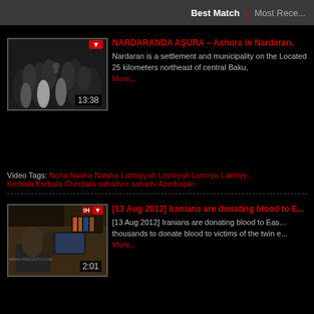Best Match | Most Recent
[Figure (screenshot): Video thumbnail showing crowd of people at Ashura gathering, duration 13:38]
NARDARANDA AŞURA – Ashura in Nardaran.
Nardaran is a settlement and municipality on the Located 25 kilometers northeast of central Baku, More...
Video Tags: Noha Nauha Nawha Latmiyyah Latmiyah Latmiya Latmiyy... Kerbala Karbala Cherbala sahartv.ir sahartv Azerbaijan
[Figure (screenshot): Video thumbnail showing people in an office setting, IHO logo, duration 2:01, watermark www.presstv.com]
[13 Aug 2012] Iranians are donating blood to E...
[13 Aug 2012] Iranians are donating blood to Eas... thousands to donate blood to victims of the twin e... More...